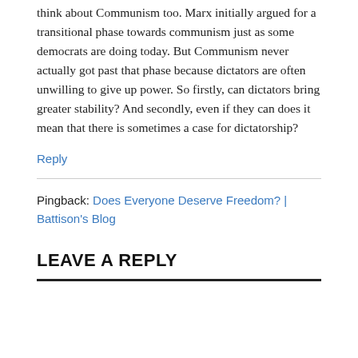think about Communism too. Marx initially argued for a transitional phase towards communism just as some democrats are doing today. But Communism never actually got past that phase because dictators are often unwilling to give up power. So firstly, can dictators bring greater stability? And secondly, even if they can does it mean that there is sometimes a case for dictatorship?
Reply
Pingback: Does Everyone Deserve Freedom? | Battison's Blog
LEAVE A REPLY